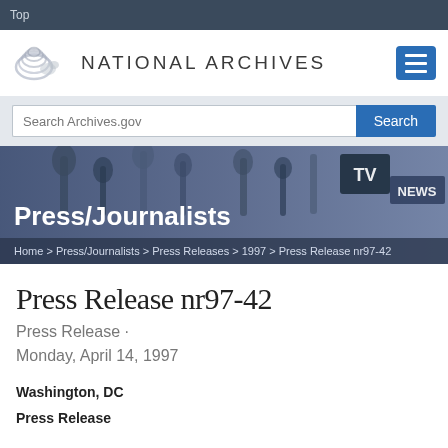Top
[Figure (logo): National Archives logo with wave/eagle graphic and text NATIONAL ARCHIVES]
Search Archives.gov
[Figure (screenshot): Press/Journalists hero banner with microphone/camera crowd background image]
Press/Journalists
Home > Press/Journalists > Press Releases > 1997 > Press Release nr97-42
Press Release nr97-42
Press Release · Monday, April 14, 1997
Washington, DC
Press Release